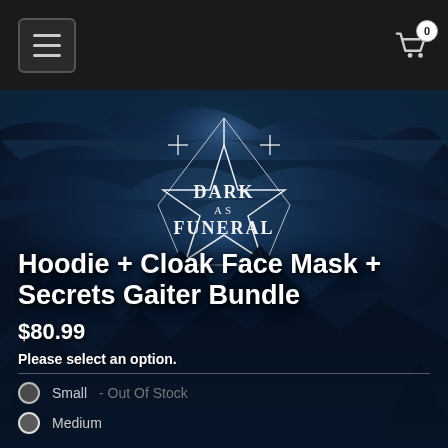Dark Funeral merchandise store navigation bar with hamburger menu and cart icon showing 0 items
[Figure (photo): Dark atmospheric album art background for Dark Funeral band, featuring dark blue stormy sky with mountains and the Dark Funeral pentagram logo with ornate gothic lettering in white]
Hoodie + Cloak Face Mask + Secrets Gaiter Bundle
$80.99
Please select an option.
Small - Out Of Stock
Medium